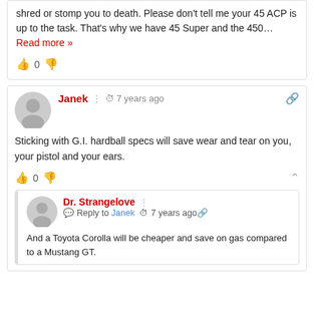shred or stomp you to death. Please don't tell me your 45 ACP is up to the task. That's why we have 45 Super and the 450… Read more »
0
Janek · 7 years ago
Sticking with G.I. hardball specs will save wear and tear on you, your pistol and your ears.
0
Dr. Strangelove · Reply to Janek · 7 years ago
And a Toyota Corolla will be cheaper and save on gas compared to a Mustang GT.